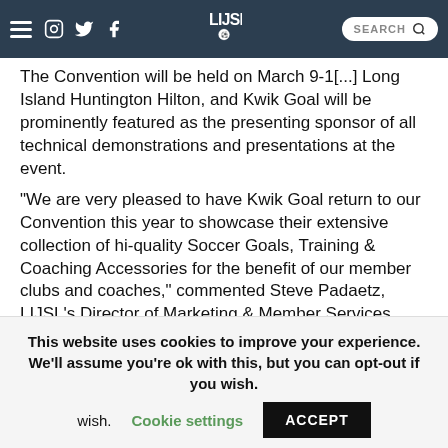LIJSL navigation bar with hamburger menu, social icons (Instagram, Twitter, Facebook), LIJSL logo, and search box
The Convention will be held on March 9-1[...] Long Island Huntington Hilton, and Kwik Goal will be prominently featured as the presenting sponsor of all technical demonstrations and presentations at the event.
“We are very pleased to have Kwik Goal return to our Convention this year to showcase their extensive collection of hi-quality Soccer Goals, Training & Coaching Accessories for the benefit of our member clubs and coaches,” commented Steve Padaetz, LIJSL’s Director of Marketing & Member Services. “We have a great line-up of nationally renowned and licensed clinicians scheduled this year, and we are very excited to have Kwik Goal sponsor these sessions.”
This website uses cookies to improve your experience. We’ll assume you’re ok with this, but you can opt-out if you wish. Cookie settings ACCEPT